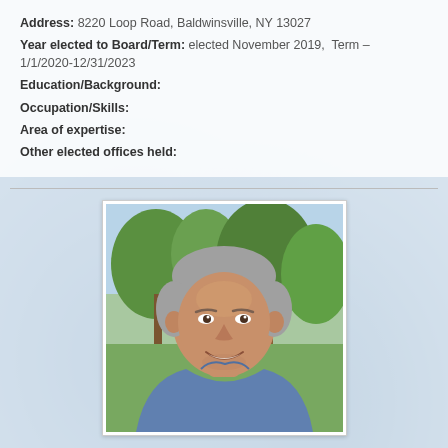Address: 8220 Loop Road, Baldwinsville, NY 13027
Year elected to Board/Term: elected November 2019, Term – 1/1/2020-12/31/2023
Education/Background:
Occupation/Skills:
Area of expertise:
Other elected offices held:
[Figure (photo): Portrait photo of a middle-aged man with gray hair, smiling, wearing a blue shirt, outdoors with trees in background]